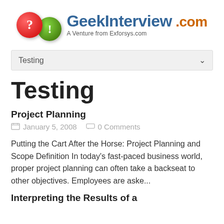[Figure (logo): GeekInterview.com logo with red question mark bubble and green exclamation bubble, text 'GeekInterview .com' in blue and orange, subtitle 'A Venture from Exforsys.com']
Testing
Testing
Project Planning
January 5, 2008   0 Comments
Putting the Cart After the Horse: Project Planning and Scope Definition In today's fast-paced business world, proper project planning can often take a backseat to other objectives. Employees are aske...
Interpreting the Results of a